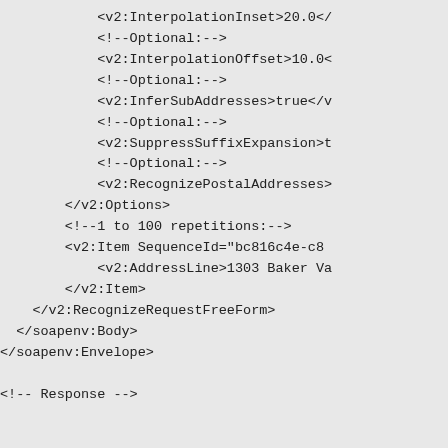XML/SOAP code snippet showing InterpolationInset, InterpolationOffset, InferSubAddresses, SuppressSuffixExpansion, RecognizePostalAddresses options, followed by v2:Options closing tag, comment for 1 to 100 repetitions, v2:Item element, AddressLine, Item closing, RecognizeRequestFreeForm closing, soapenv:Body closing, soapenv:Envelope closing, and Response comment.